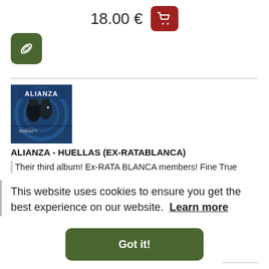18.00 €
[Figure (illustration): Dark olive green rounded square button with a paperclip/attachment icon in white]
[Figure (photo): Album cover for ALIANZA - HUELLAS, showing two people on a blue/dark background with the band name at top]
ALIANZA - HUELLAS (EX-RATABLANCA)
Their third album! Ex-RATA BLANCA members! Fine True
This website uses cookies to ensure you get the best experience on our website.  Learn more
Got it!